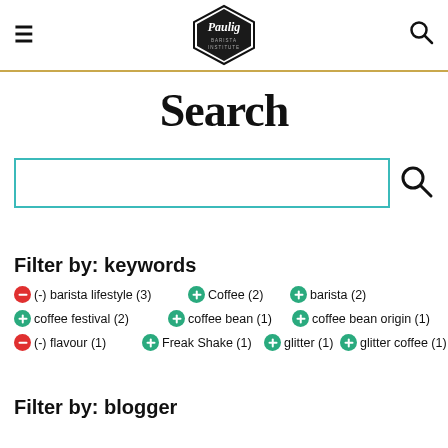Paulig Barista Institute — navigation header with hamburger menu, logo, and search icon
Search
[Figure (screenshot): Search input box with teal border and search magnifier button icon]
Filter by: keywords
(-) barista lifestyle (3)
Coffee (2)
barista (2)
coffee festival (2)
coffee bean (1)
coffee bean origin (1)
(-) flavour (1)
Freak Shake (1)
glitter (1)
glitter coffee (1)
Filter by: blogger